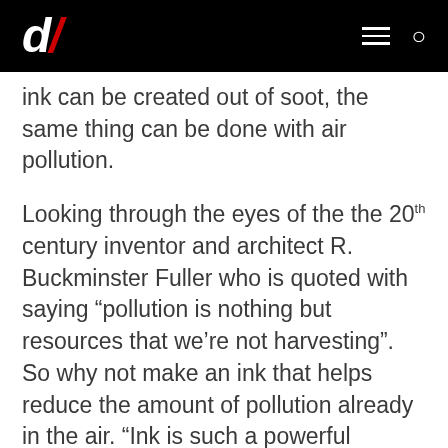d/ [logo] [hamburger menu] [search icon]
ink can be created out of soot, the same thing can be done with air pollution.
Looking through the eyes of the the 20th century inventor and architect R. Buckminster Fuller who is quoted with saying “pollution is nothing but resources that we’re not harvesting”. So why not make an ink that helps reduce the amount of pollution already in the air. “Ink is such a powerful medium to connect with people. A book has black ink. In art, you use black ink. Fashion and textiles use